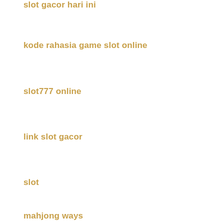slot gacor hari ini
kode rahasia game slot online
slot777 online
link slot gacor
slot
mahjong ways